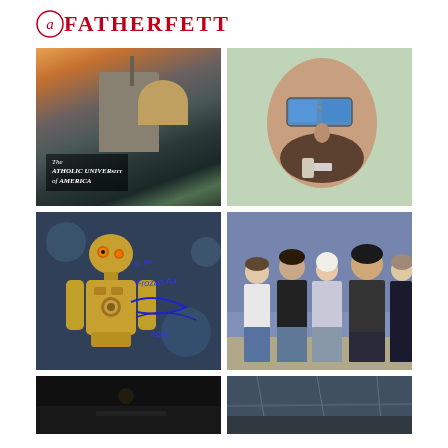FATHERFETT
[Figure (photo): Exterior photo of The Catholic University of America at sunset, showing a church/basilica with dome and bell tower, with a sign reading 'The Catholic University of America']
[Figure (photo): Close-up selfie of a bearded man wearing blue mirrored aviator sunglasses, holding something small near his mouth]
[Figure (photo): Autographed photo of C-3PO from Star Wars with blue signatures]
[Figure (photo): Group photo of four people standing together in front of a blue background, all wearing casual/fan clothing]
[Figure (photo): Partial bottom photo - dark image, appears to be a dark scene]
[Figure (photo): Partial bottom photo - industrial or outdoor scene]